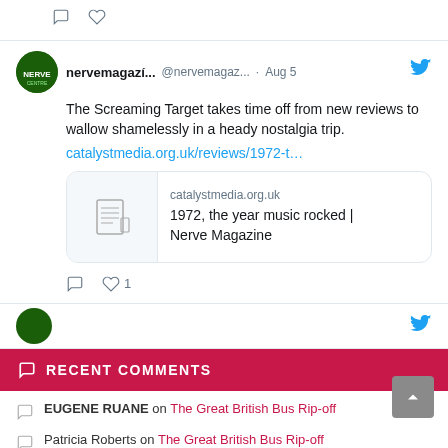[Figure (screenshot): Partial top tweet with comment and like icons]
nervemagazí... @nervemagaz... · Aug 5
The Screaming Target takes time off from new reviews to wallow shamelessly in a heady nostalgia trip.
catalystmedia.org.uk/reviews/1972-t…
[Figure (screenshot): Link card showing catalystmedia.org.uk — 1972, the year music rocked | Nerve Magazine]
[Figure (screenshot): Partial next tweet avatar visible]
RECENT COMMENTS
EUGENE RUANE on The Great British Bus Rip-off
Patricia Roberts on The Great British Bus Rip-off